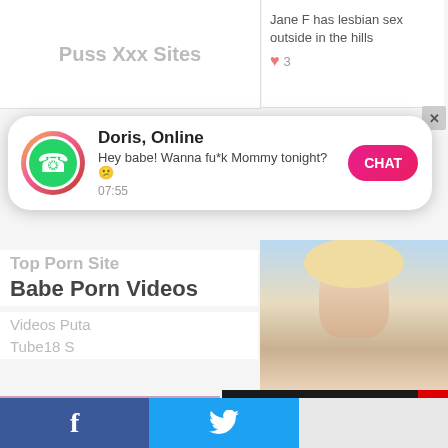Puss Xxx Sites
Jane F has lesbian sex outside in the hills
♥ 3
[Figure (screenshot): WhatsApp notification popup with green WhatsApp icon, contact name Doris Online, message Hey babe! Wanna fu*k Mommy tonight?, time 07:55, and pink CHAT button]
Top Porn Site
Babe Porn Videos
Videos Puta
Tube18 S
[Figure (photo): Blonde woman photo thumbnail on right side]
[Figure (photo): Dark-haired woman in pink top photo thumbnail]
[Figure (screenshot): Advertisement overlay with black header bar labeled Advertisement with red X close button, showing 18Schoolgirlz branded adult content]
[Figure (photo): Social sharing bar at bottom with Facebook and Twitter icons]